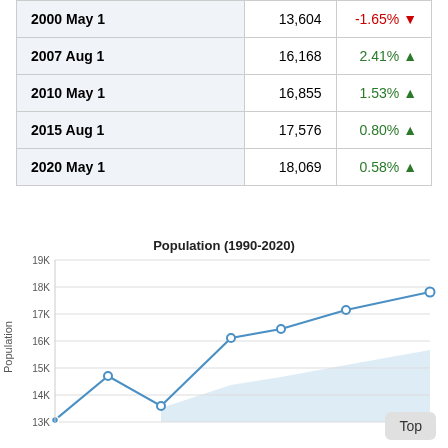| Date | Population | Change |
| --- | --- | --- |
| 2000 May 1 | 13,604 | -1.65% ▼ |
| 2007 Aug 1 | 16,168 | 2.41% ▲ |
| 2010 May 1 | 16,855 | 1.53% ▲ |
| 2015 Aug 1 | 17,576 | 0.80% ▲ |
| 2020 May 1 | 18,069 | 0.58% ▲ |
[Figure (area-chart): Population (1990-2020)]